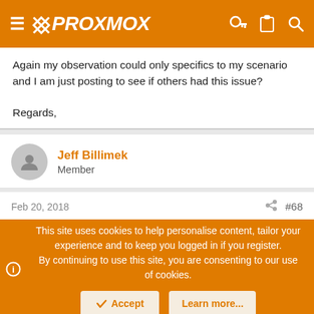PROXMOX
Again my observation could only specifics to my scenario and I am just posting to see if others had this issue?

Regards,
Jeff Billimek
Member
Feb 20, 2018  #68
This site uses cookies to help personalise content, tailor your experience and to keep you logged in if you register.
By continuing to use this site, you are consenting to our use of cookies.
Accept  Learn more...